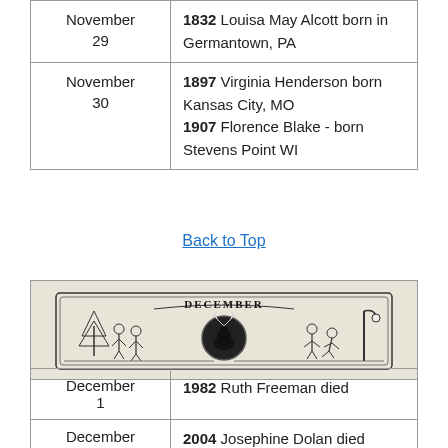| Date | Event |
| --- | --- |
| November 29 | 1832 Louisa May Alcott born in Germantown, PA |
| November 30 | 1897 Virginia Henderson born Kansas City, MO
1907 Florence Blake - born Stevens Point WI |
Back to Top
[Figure (illustration): Decorative banner illustration labeled 'December' with winter scenes and figures]
| Date | Event |
| --- | --- |
| December 1 | 1982 Ruth Freeman died |
| December | 2004 Josephine Dolan died |